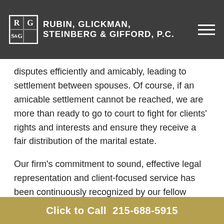Rubin, Glickman, Steinberg & Gifford, P.C.
disputes efficiently and amicably, leading to settlement between spouses. Of course, if an amicable settlement cannot be reached, we are more than ready to go to court to fight for clients' rights and interests and ensure they receive a fair distribution of the marital estate.
Our firm's commitment to sound, effective legal representation and client-focused service has been continuously recognized by our fellow Pennsylvania attorneys. Our partners have been named as Pennsylvania Super Lawyers by other members of the Pennsylvania legal community. In addition, many of our associates have been named by their peers as Pennsylvania Rising Stars. Our firm as a whole has previously been named Best Law Firm
Click to Call  215-688-5915